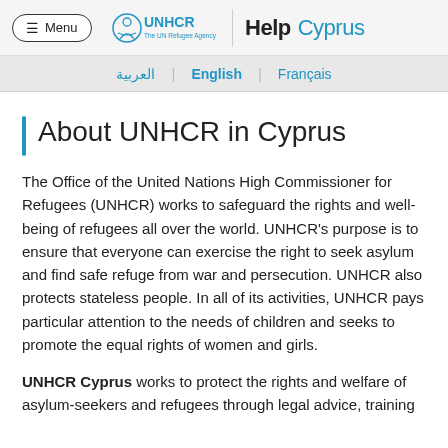Menu | UNHCR The UN Refugee Agency | Help Cyprus
العربية | English | Français
About UNHCR in Cyprus
The Office of the United Nations High Commissioner for Refugees (UNHCR) works to safeguard the rights and well-being of refugees all over the world. UNHCR's purpose is to ensure that everyone can exercise the right to seek asylum and find safe refuge from war and persecution. UNHCR also protects stateless people. In all of its activities, UNHCR pays particular attention to the needs of children and seeks to promote the equal rights of women and girls.
UNHCR Cyprus works to protect the rights and welfare of asylum-seekers and refugees through legal advice, training